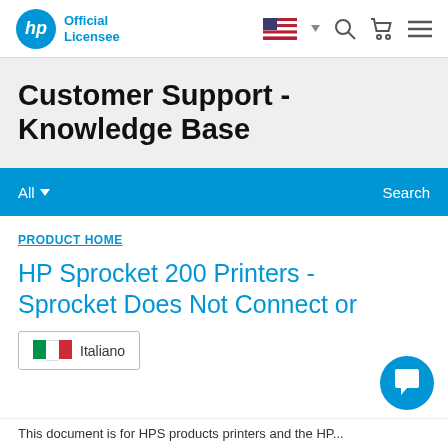HP Official Licensee
Customer Support - Knowledge Base
All  Search
PRODUCT HOME
HP Sprocket 200 Printers - Sprocket Does Not Connect or
Italiano
This document is for HPS products printers and the HP...